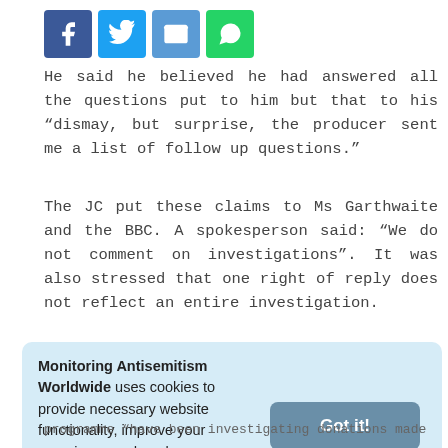and balanced documentary.
[Figure (other): Social sharing buttons: Facebook (blue), Twitter (light blue), Email (blue), WhatsApp (green)]
He said he believed he had answered all the questions put to him but that to his “dismay, but surprise, the producer sent me a list of follow up questions.”
The JC put these claims to Ms Garthwaite and the BBC. A spokesperson said: “We do not comment on investigations”. It was also stressed that one right of reply does not reflect an entire investigation.
Monitoring Antisemitism Worldwide uses cookies to provide necessary website functionality, improve your experience and analyze our traffic. By using our website, you agree to our Cookies Policy. Learn more
programme “have been investigating donations made